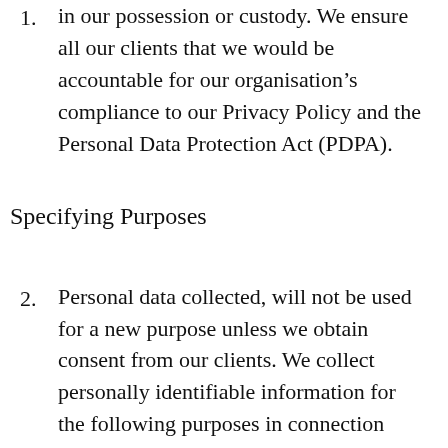1. in our possession or custody. We ensure all our clients that we would be accountable for our organisation's compliance to our Privacy Policy and the Personal Data Protection Act (PDPA).
Specifying Purposes
2. Personal data collected, will not be used for a new purpose unless we obtain consent from our clients. We collect personally identifiable information for the following purposes in connection with the products & services